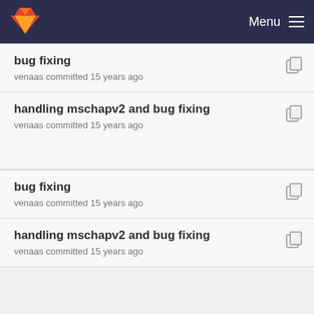Menu
bug fixing
venaas committed 15 years ago
handling mschapv2 and bug fixing
venaas committed 15 years ago
bug fixing
venaas committed 15 years ago
handling mschapv2 and bug fixing
venaas committed 15 years ago